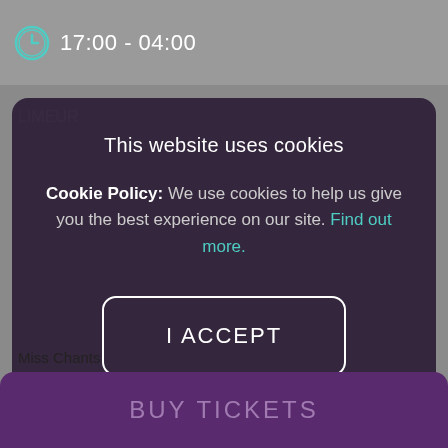17:00 - 04:00
LIMEUR
This website uses cookies
Cookie Policy: We use cookies to help us give you the best experience on our site. Find out more.
I ACCEPT
I DO NOT ACCEPT
Miss Chants
BUY TICKETS